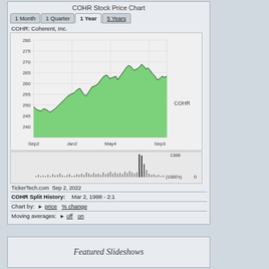COHR Stock Price Chart
[Figure (line-chart): Stock price area chart for COHR (Coherent, Inc.) from Sep2 to Sep3, showing price range 240-280, with green filled area. Below is a volume bar chart showing up to 1366 (1000's).]
TickerTech.com Sep 2, 2022
COHR Split History:    Mar 2, 1998 - 2:1
Chart by:  ▶ price   % change
Moving averages:  ▶ off   on
Featured Slideshows